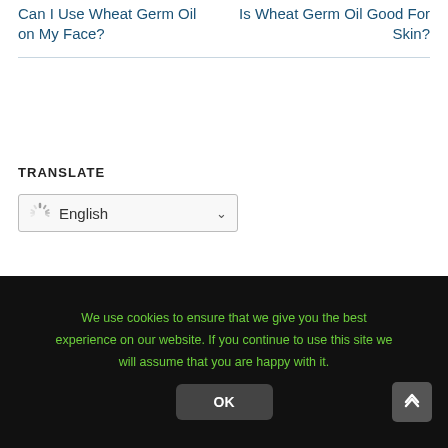Can I Use Wheat Germ Oil on My Face?
Is Wheat Germ Oil Good For Skin?
TRANSLATE
[Figure (screenshot): A dropdown selector showing 'English' with a loading spinner icon and a chevron/arrow pointing down]
We use cookies to ensure that we give you the best experience on our website. If you continue to use this site we will assume that you are happy with it.
OK